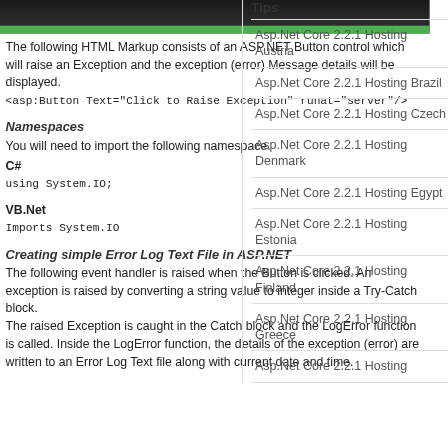[Figure (photo): Dark hero image with green bar at bottom]
The following HTML Markup consists of an ASP.NET Button control which will raise an Exception and the exception (error) Message details will be displayed.
<asp:Button Text="Click to Raise Exception" runat="server" OnClick="RaiseException"/>
Namespaces
You will need to import the following namespace.
C#
using System.IO;
VB.Net
Imports System.IO
Creating simple Error Log Text File in ASP.NET
The following event handler is raised when the Button is clicked. An exception is raised by converting a string value to integer inside a Try-Catch block.
The raised Exception is caught in the Catch block and the LogError function is called. Inside the LogError function, the details of the exception (error) are written to an Error Log Text file along with current date and time.
Tips
Asp.Net Core 2.2.1 Hosting Austria
Asp.Net Core 2.2.1 Hosting Brazil
Asp.Net Core 2.2.1 Hosting Czech
Asp.Net Core 2.2.1 Hosting Denmark
Asp.Net Core 2.2.1 Hosting Egypt
Asp.Net Core 2.2.1 Hosting Estonia
Asp.Net Core 2.2.1 Hosting Finland
Asp.Net Core 2.2.1 Hosting Greece
Asp.Net Core 2.2.1 Hosting